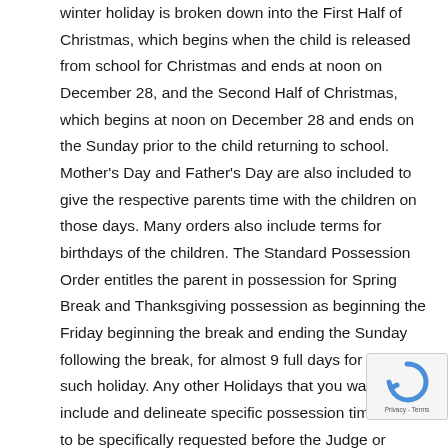winter holiday is broken down into the First Half of Christmas, which begins when the child is released from school for Christmas and ends at noon on December 28, and the Second Half of Christmas, which begins at noon on December 28 and ends on the Sunday prior to the child returning to school. Mother's Day and Father's Day are also included to give the respective parents time with the children on those days. Many orders also include terms for birthdays of the children. The Standard Possession Order entitles the parent in possession for Spring Break and Thanksgiving possession as beginning the Friday beginning the break and ending the Sunday following the break, for almost 9 full days for each such holiday. Any other Holidays that you want to include and delineate specific possession times have to be specifically requested before the Judge or agreed upon between the parties. If those holidays are not included in your order, you are able and encouraged to try to work between the parents to written...
[Figure (other): reCAPTCHA badge with logo and Privacy - Terms text]